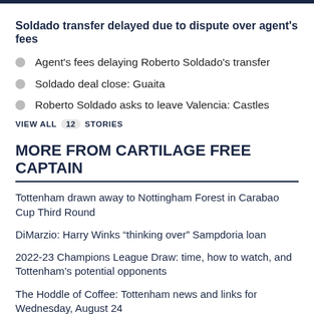Soldado transfer delayed due to dispute over agent's fees
Agent's fees delaying Roberto Soldado's transfer
Soldado deal close: Guaita
Roberto Soldado asks to leave Valencia: Castles
VIEW ALL 12 STORIES
MORE FROM CARTILAGE FREE CAPTAIN
Tottenham drawn away to Nottingham Forest in Carabao Cup Third Round
DiMarzio: Harry Winks “thinking over” Sampdoria loan
2022-23 Champions League Draw: time, how to watch, and Tottenham’s potential opponents
The Hoddle of Coffee: Tottenham news and links for Wednesday, August 24